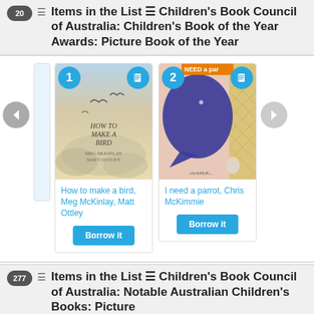20 Items in the List ☰ Children's Book Council of Australia: Children's Book of the Year Awards: Picture Book of the Year
[Figure (illustration): Carousel of book covers: item 1 'How to make a bird' by Meg McKinlay, Matt Ottley showing birds in sky; item 2 'I need a parrot' by Chris McKimmie showing a large blue whale shape on pink/green patterned background. Each card has a number badge, book icon badge, title link, and 'Borrow it' button.]
277 Items in the List ☰ Children's Book Council of Australia: Notable Australian Children's Books: Picture